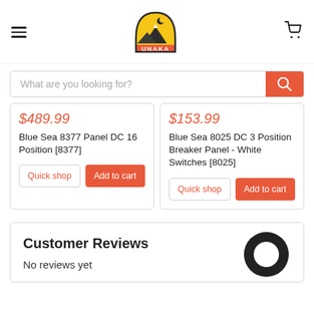[Figure (logo): Unaka brand logo — mountain scene in arch shape with UNAKA text, yellow/orange/dark colors]
What are you looking for?
$489.99
Blue Sea 8377 Panel DC 16 Position [8377]
Quick shop
Add to cart
$153.99
Blue Sea 8025 DC 3 Position Breaker Panel - White Switches [8025]
Quick shop
Add to cart
Customer Reviews
No reviews yet